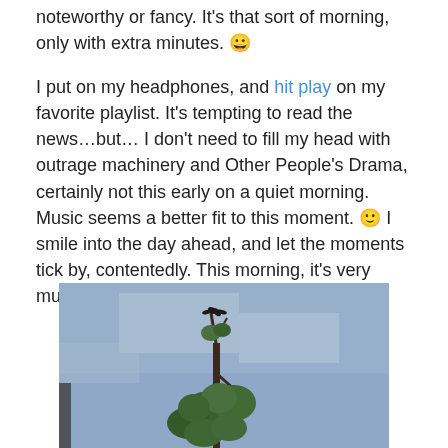noteworthy or fancy. It's that sort of morning, only with extra minutes. 😀
I put on my headphones, and hit play on my favorite playlist. It's tempting to read the news…but… I don't need to fill my head with outrage machinery and Other People's Drama, certainly not this early on a quiet morning. Music seems a better fit to this moment. 🙂 I smile into the day ahead, and let the moments tick by, contentedly. This morning, it's very much enough. 🙂
[Figure (photo): A bird perched at the top of a tall tree with green foliage against a blue-grey sky]